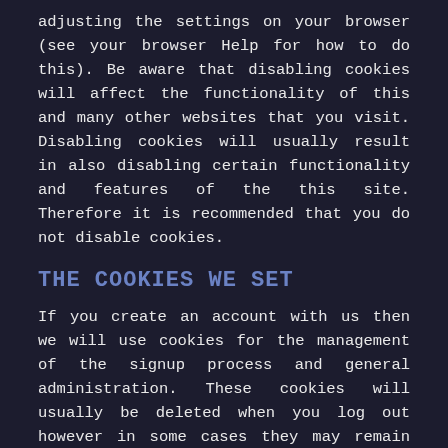adjusting the settings on your browser (see your browser Help for how to do this). Be aware that disabling cookies will affect the functionality of this and many other websites that you visit. Disabling cookies will usually result in also disabling certain functionality and features of the this site. Therefore it is recommended that you do not disable cookies.
THE COOKIES WE SET
If you create an account with us then we will use cookies for the management of the signup process and general administration. These cookies will usually be deleted when you log out however in some cases they may remain afterwards to remember your site preferences